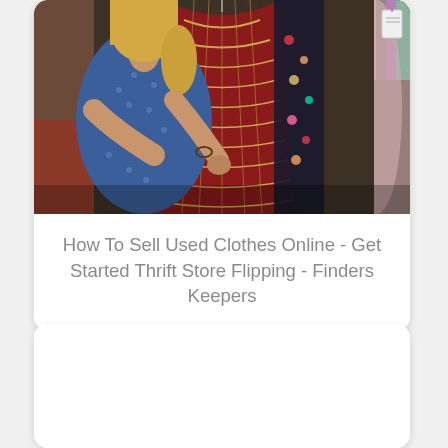[Figure (photo): A woman in a blue patterned dress browsing through colorful hanging clothes at a thrift store. A red/gold embroidered dress and a floral dress are visible on the rack, along with a mauve/pink gown.]
How To Sell Used Clothes Online - Get Started Thrift Store Flipping - Finders Keepers
[Figure (photo): Second card below, partially visible, showing a white/blank image area.]